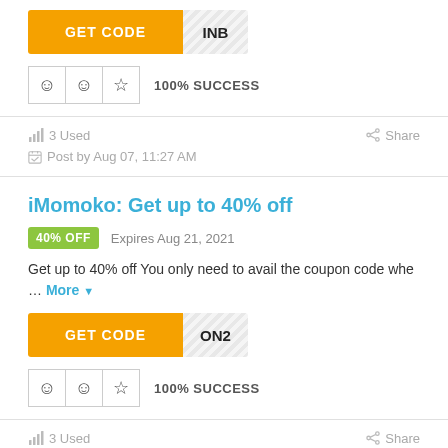[Figure (other): GET CODE button with striped code area showing 'INB']
100% SUCCESS
3 Used   Share
Post by Aug 07, 11:27 AM
iMomoko: Get up to 40% off
40% OFF   Expires Aug 21, 2021
Get up to 40% off You only need to avail the coupon code whe ... More
[Figure (other): GET CODE button with striped code area showing 'ON2']
100% SUCCESS
3 Used   Share